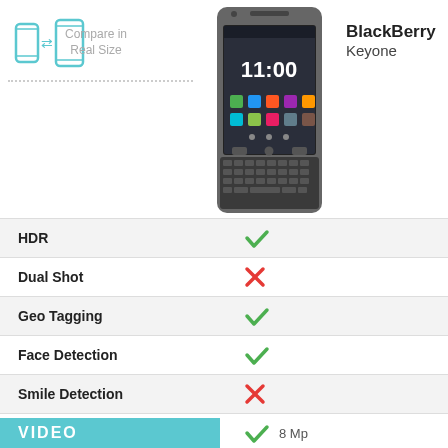[Figure (illustration): Two small phone icons with arrows indicating size comparison, labeled 'Compare in Real Size', with a dotted line separator below]
[Figure (photo): BlackBerry Keyone smartphone showing physical keyboard and touchscreen displaying 11:00]
BlackBerry Keyone
| Feature | BlackBerry Keyone |
| --- | --- |
| HDR | ✓ |
| Dual Shot | ✗ |
| Geo Tagging | ✓ |
| Face Detection | ✓ |
| Smile Detection | ✗ |
| Secondary Camera | ✓ 8 Mp |
VIDEO